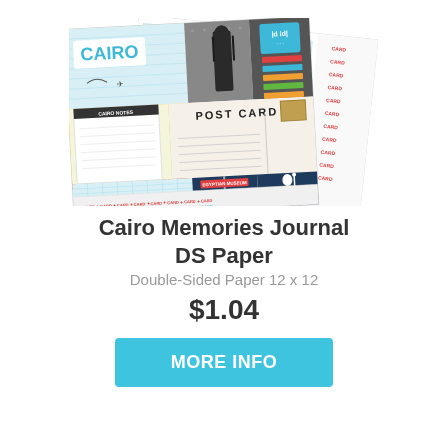[Figure (photo): Product image of Cairo Memories Journal DS Paper showing a double-sided scrapbook paper sheet with Egyptian-themed designs including CAIRO text, a pharaoh figure, post card layout, Egyptian goddess figure, directional signs, and decorative card elements on a light blue/teal and multi-colored background.]
Cairo Memories Journal DS Paper
Double-Sided Paper 12 x 12
$1.04
MORE INFO